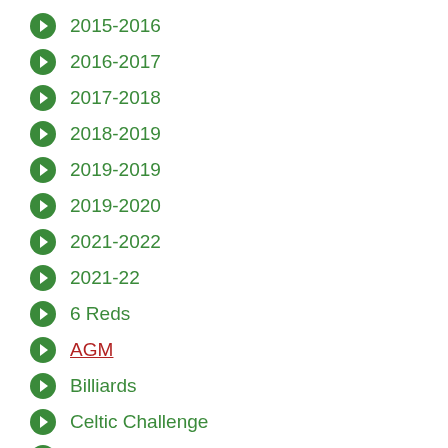2015-2016
2016-2017
2017-2018
2018-2019
2019-2019
2019-2020
2021-2022
2021-22
6 Reds
AGM
Billiards
Celtic Challenge
Charity
Coaching